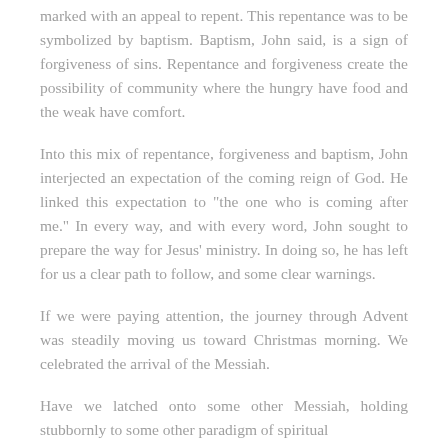marked with an appeal to repent. This repentance was to be symbolized by baptism. Baptism, John said, is a sign of forgiveness of sins. Repentance and forgiveness create the possibility of community where the hungry have food and the weak have comfort.
Into this mix of repentance, forgiveness and baptism, John interjected an expectation of the coming reign of God. He linked this expectation to "the one who is coming after me." In every way, and with every word, John sought to prepare the way for Jesus' ministry. In doing so, he has left for us a clear path to follow, and some clear warnings.
If we were paying attention, the journey through Advent was steadily moving us toward Christmas morning. We celebrated the arrival of the Messiah.
Have we latched onto some other Messiah, holding stubbornly to some other paradigm of spiritual